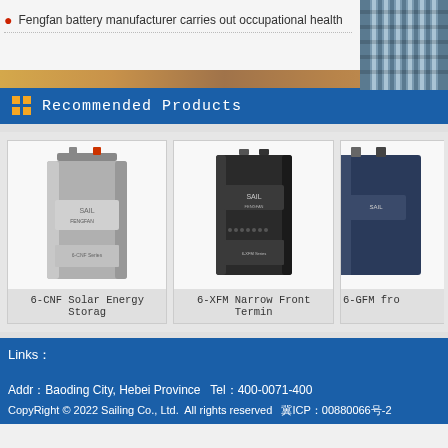Fengfan battery manufacturer carries out occupational health
Recommended Products
[Figure (photo): 6-CNF Solar Energy Storage battery product photo - grey tall rectangular battery with SAIL brand label]
6-CNF Solar Energy Storag
[Figure (photo): 6-XFM Narrow Front Terminal battery product photo - black tall slim rectangular battery with SAIL brand label]
6-XFM Narrow Front Termin
[Figure (photo): 6-GFM front terminal battery product photo - partially visible on right edge]
6-GFM fro
Links：
Addr：Baoding City, Hebei Province  Tel：400-0071-400
CopyRight © 2022 Sailing Co., Ltd.  All rights reserved  冀ICP：00880066号-2